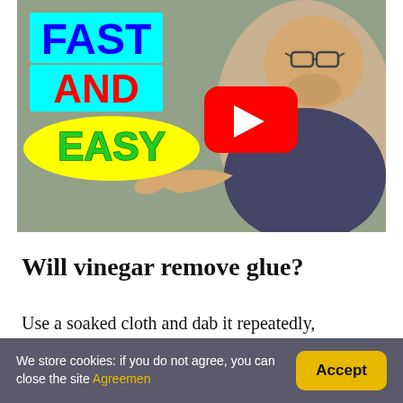[Figure (screenshot): YouTube video thumbnail showing a man pointing, with overlaid text 'FAST AND EASY' in colorful styling and a YouTube play button]
Will vinegar remove glue?
Use a soaked cloth and dab it repeatedly, saturating the glue. Let it soak in, then clean
We store cookies: if you do not agree, you can close the site Agreement